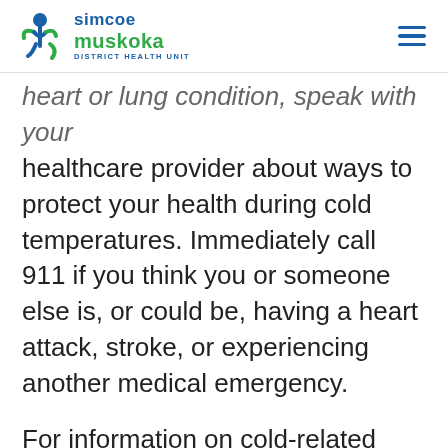simcoe muskoka DISTRICT HEALTH UNIT
heart or lung condition, speak with your healthcare provider about ways to protect your health during cold temperatures. Immediately call 911 if you think you or someone else is, or could be, having a heart attack, stroke, or experiencing another medical emergency.
For information on cold-related emergency room visits in Simcoe Muskoka, visit our HealthSTATS webpage